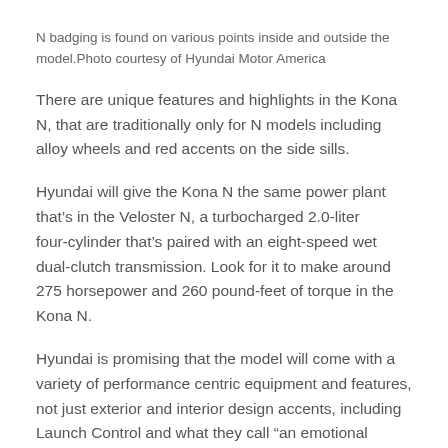N badging is found on various points inside and outside the model.Photo courtesy of Hyundai Motor America
There are unique features and highlights in the Kona N, that are traditionally only for N models including alloy wheels and red accents on the side sills.
Hyundai will give the Kona N the same power plant that’s in the Veloster N, a turbocharged 2.0-liter four-cylinder that’s paired with an eight-speed wet dual-clutch transmission. Look for it to make around 275 horsepower and 260 pound-feet of torque in the Kona N.
Hyundai is promising that the model will come with a variety of performance centric equipment and features, not just exterior and interior design accents, including Launch Control and what they call “an emotional sound experience”.